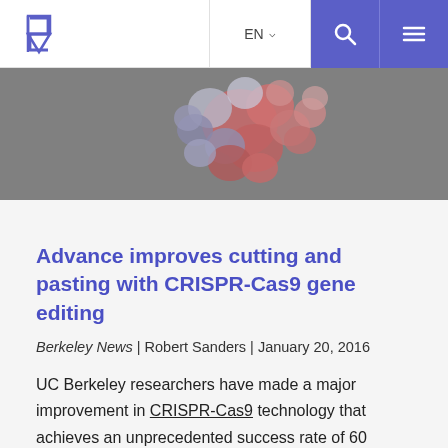EN  [search] [menu]
[Figure (photo): 3D molecular model of CRISPR-Cas9 protein structure shown in space-filling representation with red, white, and blue atoms against a gray background]
Advance improves cutting and pasting with CRISPR-Cas9 gene editing
Berkeley News | Robert Sanders | January 20, 2016
UC Berkeley researchers have made a major improvement in CRISPR-Cas9 technology that achieves an unprecedented success rate of 60 percent when replacing a short stretch of DNA with another.